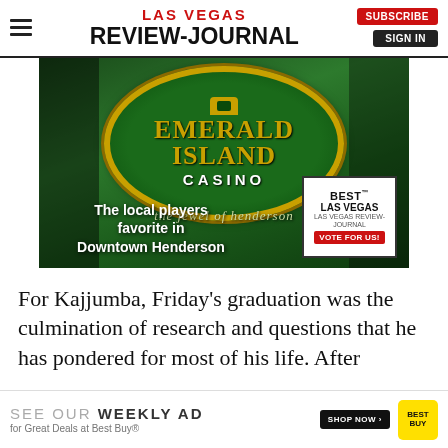LAS VEGAS REVIEW-JOURNAL
[Figure (photo): Emerald Island Casino advertisement — green background with gold lettering reading EMERALD ISLAND CASINO, tagline 'the jewel of henderson', text 'The local players favorite in Downtown Henderson', and a Best Las Vegas Vote For Us badge.]
For Kajjumba, Friday's graduation was the culmination of research and questions that he has pondered for most of his life. After
[Figure (other): Best Buy advertisement: SEE OUR WEEKLY AD for Great Deals at Best Buy® SHOP NOW button and Best Buy logo]